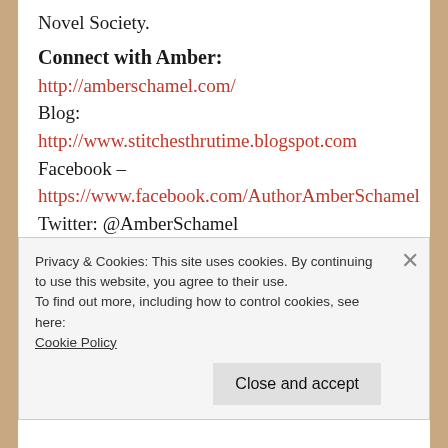Novel Society.
Connect with Amber:
http://amberschamel.com/
Blog:
http://www.stitchesthrutime.blogspot.com
Facebook –
https://www.facebook.com/AuthorAmberSchamel
Twitter: @AmberSchamel
Pintrest –
http://pinterest.com/AmberDSchamel/
Goodreads –
https://www.goodreads.com/author/show/7073165
Privacy & Cookies: This site uses cookies. By continuing to use this website, you agree to their use.
To find out more, including how to control cookies, see here:
Cookie Policy
Close and accept